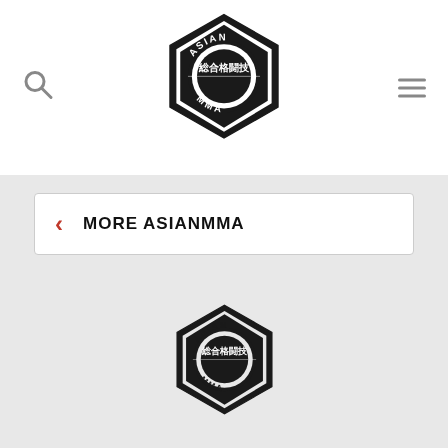[Figure (logo): Asian MMA logo with hexagon shape, Japanese kanji 総合格闘技, and MMA text in header]
[Figure (logo): Search icon (magnifying glass) in top left of header]
[Figure (other): Hamburger menu icon in top right of header]
< MORE ASIANMMA
[Figure (logo): Asian MMA logo with hexagon shape, Japanese kanji 総合格闘技, and MMA text in content area]
© 2022 asianmma.com
Categories
Top Stories